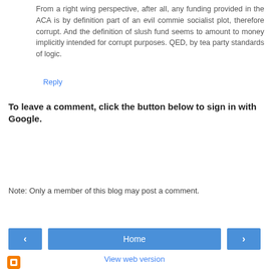From a right wing perspective, after all, any funding provided in the ACA is by definition part of an evil commie socialist plot, therefore corrupt. And the definition of slush fund seems to amount to money implicitly intended for corrupt purposes. QED, by tea party standards of logic.
Reply
To leave a comment, click the button below to sign in with Google.
SIGN IN WITH GOOGLE
Note: Only a member of this blog may post a comment.
‹
Home
›
View web version